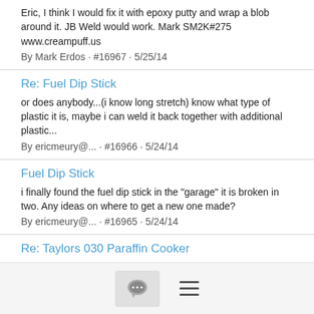Eric, I think I would fix it with epoxy putty and wrap a blob around it. JB Weld would work. Mark SM2K#275 www.creampuff.us
By Mark Erdos · #16967 · 5/25/14
Re: Fuel Dip Stick
or does anybody...(i know long stretch) know what type of plastic it is, maybe i can weld it back together with additional plastic...
By ericmeury@... · #16966 · 5/24/14
Fuel Dip Stick
i finally found the fuel dip stick in the "garage" it is broken in two. Any ideas on where to get a new one made?
By ericmeury@... · #16965 · 5/24/14
Re: Taylors 030 Paraffin Cooker
Seems like a real hassle to me.. Cooking And Heating On A Boat Using Kerosene (Paraffin) Cooking And Heating On A Boat...
By ericmeury@... · #16964 · 5/24/14
[Figure (other): Bottom navigation bar with a chat bubble icon button and a hamburger menu icon]